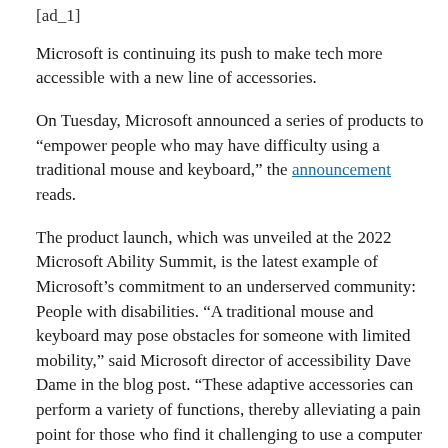[ad_1]
Microsoft is continuing its push to make tech more accessible with a new line of accessories.
On Tuesday, Microsoft announced a series of products to “empower people who may have difficulty using a traditional mouse and keyboard,” the announcement reads.
The product launch, which was unveiled at the 2022 Microsoft Ability Summit, is the latest example of Microsoft’s commitment to an underserved community: People with disabilities. “A traditional mouse and keyboard may pose obstacles for someone with limited mobility,” said Microsoft director of accessibility Dave Dame in the blog post. “These adaptive accessories can perform a variety of functions, thereby alleviating a pain point for those who find it challenging to use a computer of their PC”